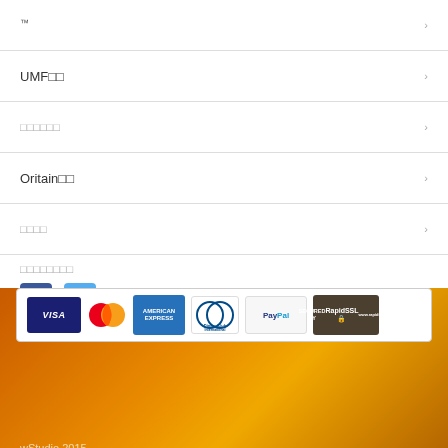™
UMF□□
□□□□□□
Oritain□□
□□□□
□□□□□□□□
[Figure (illustration): Two social media icon buttons (square icons)]
[Figure (illustration): Payment methods banner showing VISA, MasterCard, American Express, Diners Club International, PayPal, and Secured by RapidSSL logos]
wStudio 2015